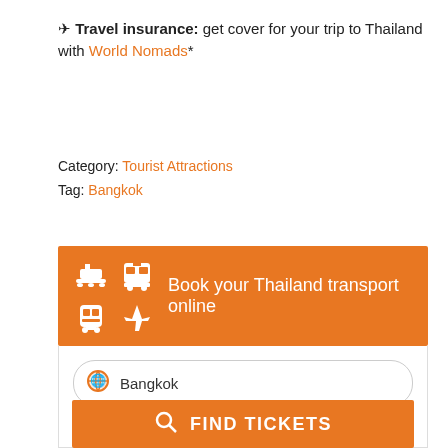✈ Travel insurance: get cover for your trip to Thailand with World Nomads*
Category: Tourist Attractions
Tag: Bangkok
[Figure (infographic): Orange banner with transport icons (boat, bus, train, plane) and text 'Book your Thailand transport online']
Bangkok
Chiang Mai
AUGUST, 29
FIND TICKETS